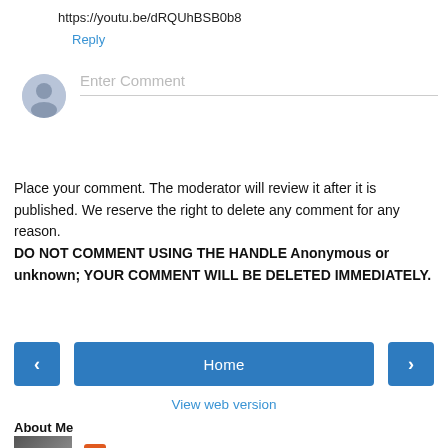https://youtu.be/dRQUhBSB0b8
Reply
[Figure (other): User avatar placeholder icon (grey silhouette) with 'Enter Comment' input field below with a grey underline border]
Place your comment. The moderator will review it after it is published. We reserve the right to delete any comment for any reason.
DO NOT COMMENT USING THE HANDLE Anonymous or unknown; YOUR COMMENT WILL BE DELETED IMMEDIATELY.
‹
Home
›
View web version
About Me
Paul Strasman